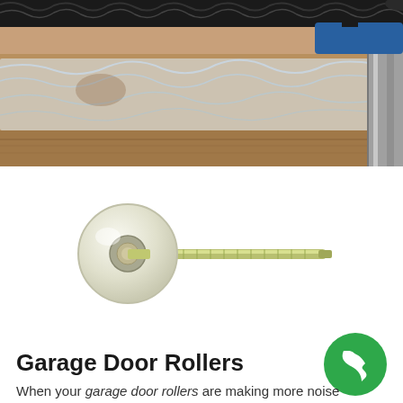[Figure (photo): Photo of a garage door torsion spring mechanism with black spring coil visible at top and transparent plastic sheeting/wrap over a wooden surface below, with metal track on the right side.]
[Figure (photo): Product photo of a white nylon garage door roller with a long metallic steel stem/shaft on a white background.]
Garage Door Rollers
[Figure (illustration): Green circular phone call button icon with a white telephone handset symbol.]
When your garage door rollers are making more noise